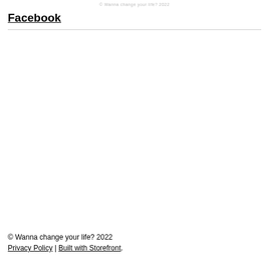© Wanna change your life? 2022
Facebook
© Wanna change your life? 2022
Privacy Policy | Built with Storefront.